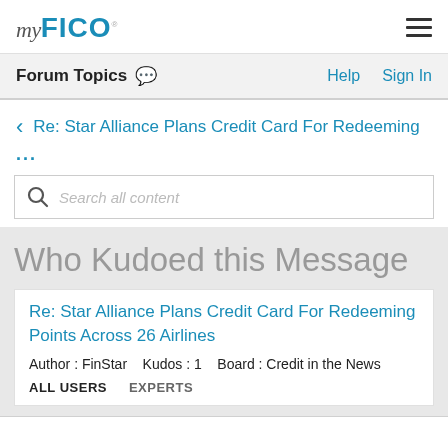myFICO
Forum Topics
Help   Sign In
< Re: Star Alliance Plans Credit Card For Redeeming
...
Search all content
Who Kudoed this Message
Re: Star Alliance Plans Credit Card For Redeeming Points Across 26 Airlines
Author : FinStar   Kudos : 1   Board : Credit in the News
ALL USERS   EXPERTS